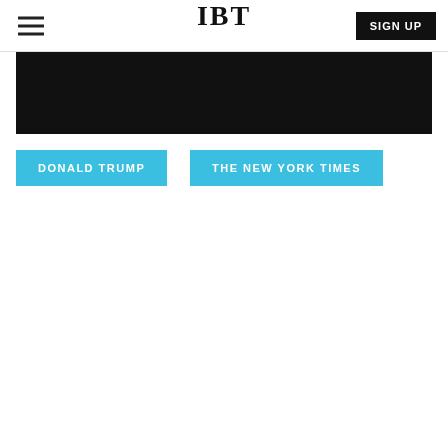IBT | SIGN UP
[Figure (other): Black banner/image placeholder at the top of the article]
DONALD TRUMP
THE NEW YORK TIMES